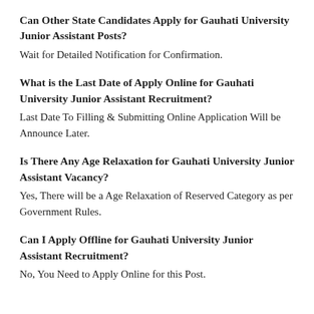Can Other State Candidates Apply for Gauhati University Junior Assistant Posts?
Wait for Detailed Notification for Confirmation.
What is the Last Date of Apply Online for Gauhati University Junior Assistant Recruitment?
Last Date To Filling & Submitting Online Application Will be Announce Later.
Is There Any Age Relaxation for Gauhati University Junior Assistant Vacancy?
Yes, There will be a Age Relaxation of Reserved Category as per Government Rules.
Can I Apply Offline for Gauhati University Junior Assistant Recruitment?
No, You Need to Apply Online for this Post.